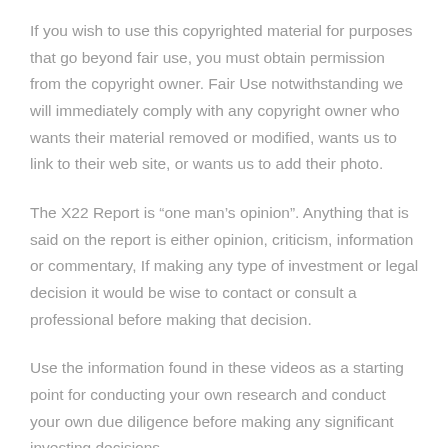If you wish to use this copyrighted material for purposes that go beyond fair use, you must obtain permission from the copyright owner. Fair Use notwithstanding we will immediately comply with any copyright owner who wants their material removed or modified, wants us to link to their web site, or wants us to add their photo.
The X22 Report is “one man’s opinion”. Anything that is said on the report is either opinion, criticism, information or commentary, If making any type of investment or legal decision it would be wise to contact or consult a professional before making that decision.
Use the information found in these videos as a starting point for conducting your own research and conduct your own due diligence before making any significant investing decisions.